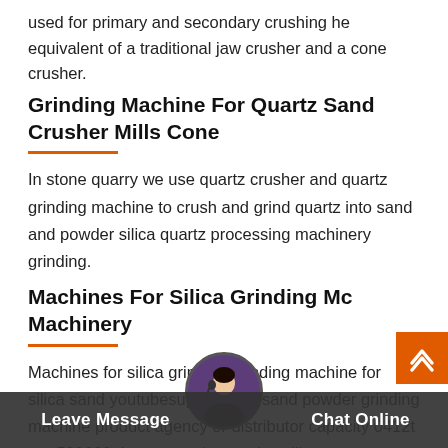used for primary and secondary crushing he equivalent of a traditional jaw crusher and a cone crusher.
Grinding Machine For Quartz Sand Crusher Mills Cone
In stone quarry we use quartz crusher and quartz grinding machine to crush and grind quartz into sand and powder silica quartz processing machinery grinding.
Machines For Silica Grinding Mc Machinery
Machines for silica grinding grinding machine for silica sand youtubesupply silica sand powder grinding machine product agency or distributor capacity 0412t per 500600 th stone rock get price silica quartz crus plant equipment silica qu paration and grinding machine roller crusher t n silica quartz fr m 25mm to 2mm at 70 tons per hour
Leave Message  Chat Online